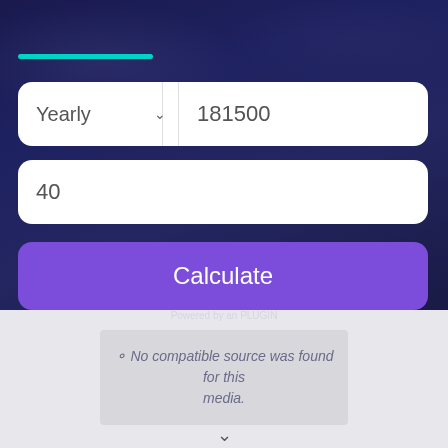[Figure (screenshot): Web calculator UI with dark navy background showing a city skyline, a cyan progress bar, a dropdown selector showing 'Yearly' with value '181500', a hours input field with value '40', and a purple 'Calculate' button]
181500
40
Calculate
No compatible source was found for this media.